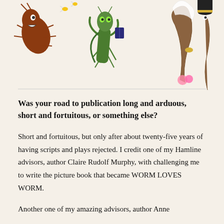[Figure (illustration): Illustrated cartoon bugs and worms as characters: a cockroach, a praying mantis holding a small book, and two worm characters in wedding attire (one with a veil and bouquet, one with a gold ring/cuff), on a light background.]
Was your road to publication long and arduous, short and fortuitous, or something else?
Short and fortuitous, but only after about twenty-five years of having scripts and plays rejected. I credit one of my Hamline advisors, author Claire Rudolf Murphy, with challenging me to write the picture book that became WORM LOVES WORM.
Another one of my amazing advisors, author Anne